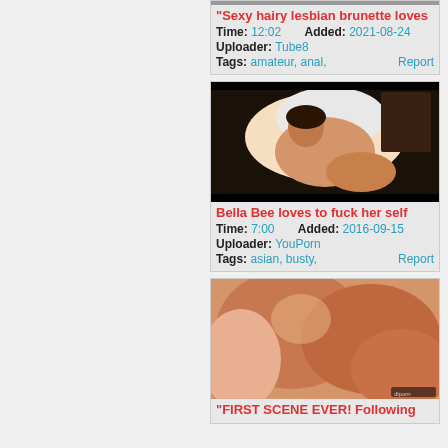"Sexy hairy lesbian brunette loves
Time: 12:02   Added: 2021-08-24
Uploader: Tube8
Tags: amateur, anal,   Report
[Figure (photo): Thumbnail of Bella Bee video]
Bella Bee loves to fuck her self
Time: 7:00   Added: 2016-09-15
Uploader: YouPorn
Tags: asian, busty,   Report
[Figure (photo): Thumbnail of FIRST SCENE EVER video]
"FIRST SCENE EVER! Following